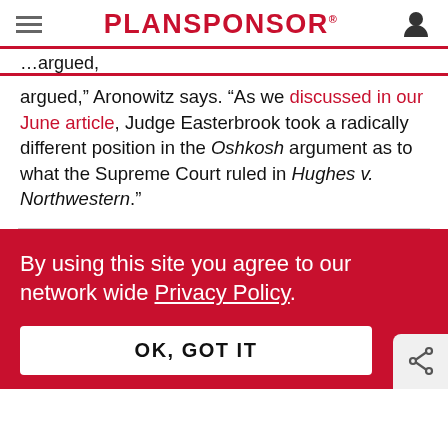PLANSPONSOR
argued,” Aronowitz says. “As we discussed in our June article, Judge Easterbrook took a radically different position in the Oshkosh argument as to what the Supreme Court ruled in Hughes v. Northwestern.”
By using this site you agree to our network wide Privacy Policy.
OK, GOT IT